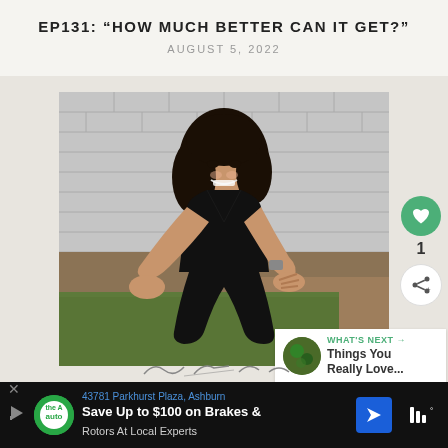EP131: “HOW MUCH BETTER CAN IT GET?”
AUGUST 5, 2022
[Figure (photo): Woman in black athletic wear sitting cross-legged on grass, smiling, against a grey brick wall background]
1
WHAT'S NEXT → Things You Really Love...
43781 Parkhurst Plaza, Ashburn
Save Up to $100 on Brakes &